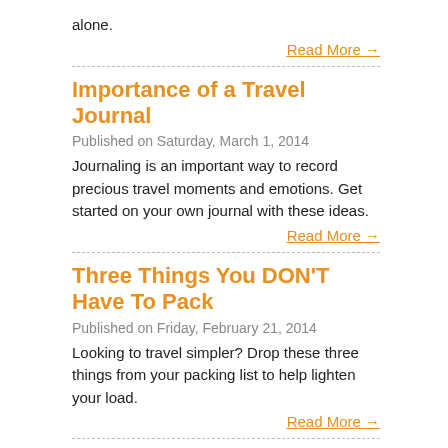alone.
Read More →
Importance of a Travel Journal
Published on Saturday, March 1, 2014
Journaling is an important way to record precious travel moments and emotions. Get started on your own journal with these ideas.
Read More →
Three Things You DON'T Have To Pack
Published on Friday, February 21, 2014
Looking to travel simpler? Drop these three things from your packing list to help lighten your load.
Read More →
Travel Safety Tips For Guys
Published on Tuesday, February 18, 2014
Everyone needs to be safe while traveling, even guys. Follow